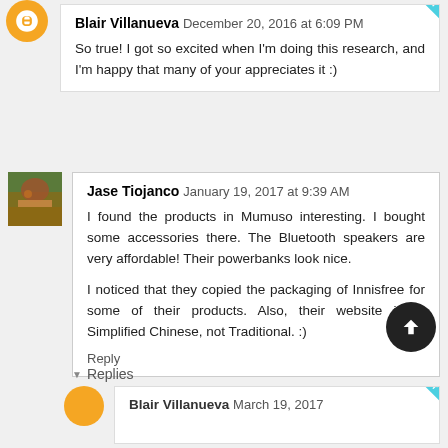Blair Villanueva December 20, 2016 at 6:09 PM
So true! I got so excited when I'm doing this research, and I'm happy that many of your appreciates it :)
Jase Tiojanco January 19, 2017 at 9:39 AM
I found the products in Mumuso interesting. I bought some accessories there. The Bluetooth speakers are very affordable! Their powerbanks look nice.

I noticed that they copied the packaging of Innisfree for some of their products. Also, their website is in Simplified Chinese, not Traditional. :)

Reply
▼ Replies
Blair Villanueva March 19, 2017